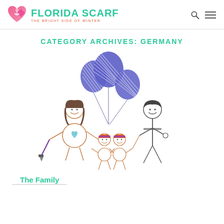FLORIDA SCARF — THE BRIGHT SIDE OF WINTER
CATEGORY ARCHIVES: GERMANY
[Figure (illustration): Child-like stick figure drawing of a family of four (two adults, two children) holding hands, with three blue balloons. The female adult has long dark hair and holds a paintbrush; the male is a stick figure. Two small children with orange hair stand in the middle holding balloon strings. Background is white.]
The Family